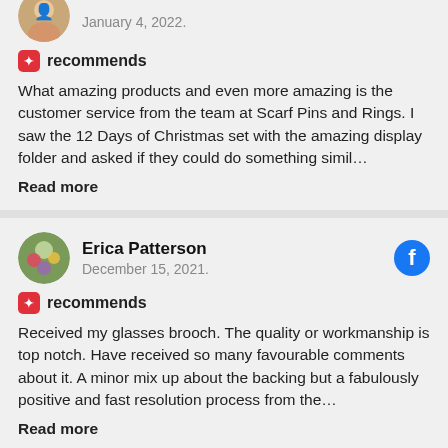January 4, 2022.
recommends
What amazing products and even more amazing is the customer service from the team at Scarf Pins and Rings. I saw the 12 Days of Christmas set with the amazing display folder and asked if they could do something simil…
Read more
Erica Patterson
December 15, 2021.
recommends
Received my glasses brooch. The quality or workmanship is top notch. Have received so many favourable comments about it. A minor mix up about the backing but a fabulously positive and fast resolution process from the…
Read more
Belinda Kovos